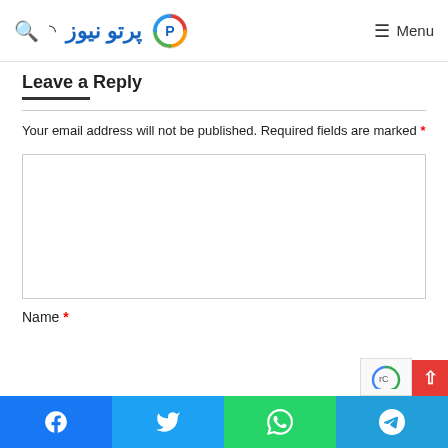پرتو نیوز — Menu
Leave a Reply
Your email address will not be published. Required fields are marked *
[Figure (other): Comment text area input box, empty]
Name *
[Figure (other): Social share bar: Facebook, Twitter, WhatsApp, Telegram]